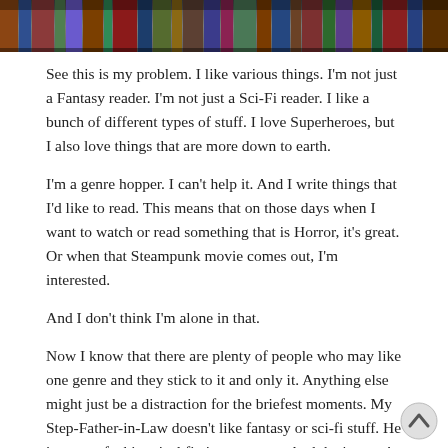[Figure (photo): A photo strip of books on a shelf, shown at the top of the page, partially cropped.]
See this is my problem. I like various things. I'm not just a Fantasy reader. I'm not just a Sci-Fi reader. I like a bunch of different types of stuff. I love Superheroes, but I also love things that are more down to earth.
I'm a genre hopper. I can't help it. And I write things that I'd like to read. This means that on those days when I want to watch or read something that is Horror, it's great. Or when that Steampunk movie comes out, I'm interested.
And I don't think I'm alone in that.
Now I know that there are plenty of people who may like one genre and they stick to it and only it. Anything else might just be a distraction for the briefest moments. My Step-Father-in-Law doesn't like fantasy or sci-fi stuff. He is more of a historical fiction type guy. And that's great!
But it also means that he's not checking out that Urban Fantasy series. He's not in it for a 5 book series about the colonists traveling the stars.